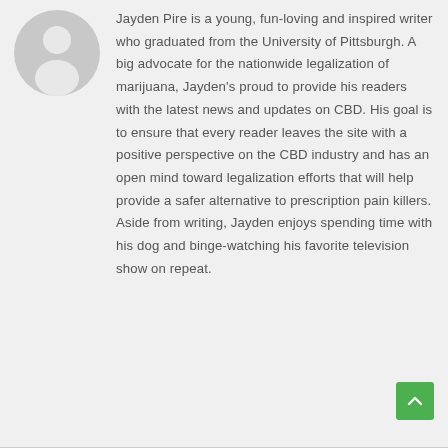[Figure (illustration): Gray silhouette avatar icon of a person, circular crop, on light gray background]
Jayden Pire is a young, fun-loving and inspired writer who graduated from the University of Pittsburgh. A big advocate for the nationwide legalization of marijuana, Jayden's proud to provide his readers with the latest news and updates on CBD. His goal is to ensure that every reader leaves the site with a positive perspective on the CBD industry and has an open mind toward legalization efforts that will help provide a safer alternative to prescription pain killers. Aside from writing, Jayden enjoys spending time with his dog and binge-watching his favorite television show on repeat.